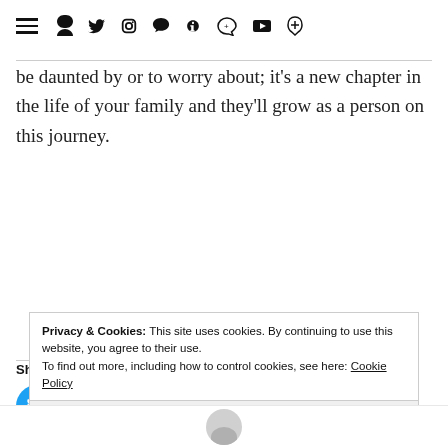≡ f t Instagram Pinterest ♥ g+ YouTube RSS
be daunted by or to worry about; it's a new chapter in the life of your family and they'll grow as a person on this journey.
Share this:
[Figure (illustration): Twitter share button (blue circle with white Twitter bird icon) and Facebook share button (blue circle with white Facebook 'f' icon)]
[Figure (illustration): Calendar icon in light gray]
Privacy & Cookies: This site uses cookies. By continuing to use this website, you agree to their use. To find out more, including how to control cookies, see here: Cookie Policy
Close and accept
[Figure (illustration): Partial view of a user avatar circle at the bottom of the page]